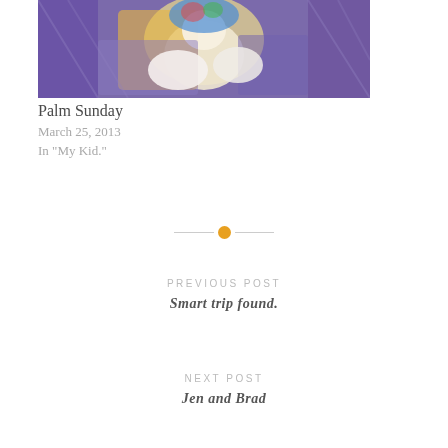[Figure (photo): A photograph showing adults holding a baby, with colorful clothing visible including purple and yellow garments]
Palm Sunday
March 25, 2013
In "My Kid."
PREVIOUS POST
Smart trip found.
NEXT POST
Jen and Brad